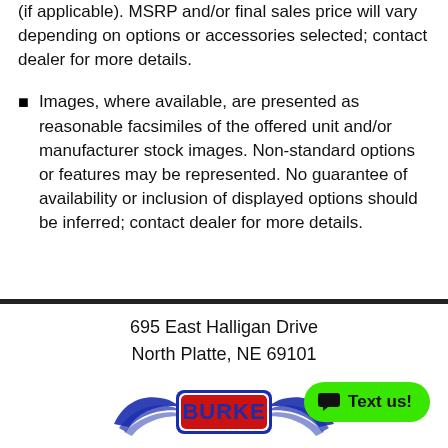(if applicable). MSRP and/or final sales price will vary depending on options or accessories selected; contact dealer for more details.
Images, where available, are presented as reasonable facsimiles of the offered unit and/or manufacturer stock images. Non-standard options or features may be represented. No guarantee of availability or inclusion of displayed options should be inferred; contact dealer for more details.
695 East Halligan Drive
North Platte, NE 69101
[Figure (logo): Burke dealer logo with wings and red/blue lettering]